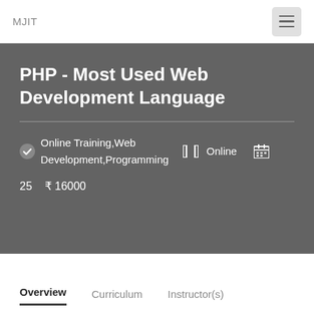MJIT
PHP - Most Used Web Development Language
Online Training,Web Development,Programming  Online  25  ₹ 16000
Overview  Curriculum  Instructor(s)